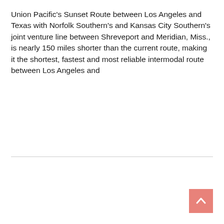Union Pacific's Sunset Route between Los Angeles and Texas with Norfolk Southern's and Kansas City Southern's joint venture line between Shreveport and Meridian, Miss., is nearly 150 miles shorter than the current route, making it the shortest, fastest and most reliable intermodal route between Los Angeles and